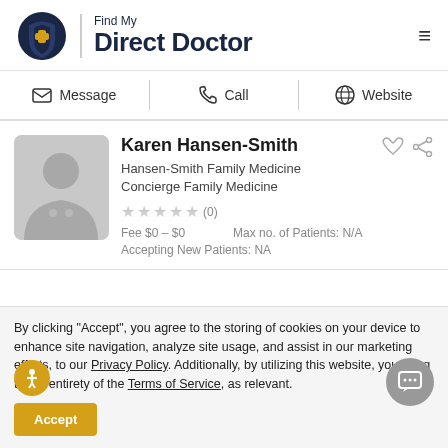[Figure (logo): Find My Direct Doctor logo with shield icon and text]
Message | Call | Website
Karen Hansen-Smith
Hansen-Smith Family Medicine
Concierge Family Medicine
★★★★★(0)
Fee $0 – $0
Max no. of Patients: N/A
Accepting New Patients: NA
By clicking "Accept", you agree to the storing of cookies on your device to enhance site navigation, analyze site usage, and assist in our marketing efforts, to our Privacy Policy. Additionally, by utilizing this website, you are g to the entirety of the Terms of Service, as relevant.